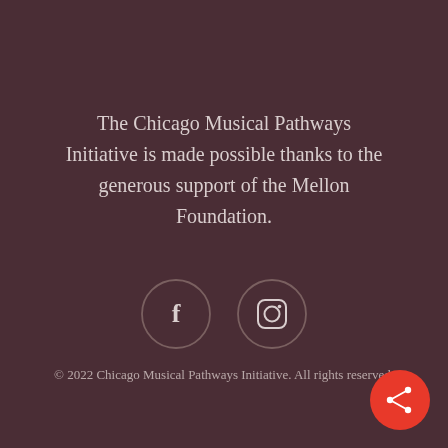The Chicago Musical Pathways Initiative is made possible thanks to the generous support of the Mellon Foundation.
[Figure (illustration): Two circular social media icon buttons side by side: Facebook (f) and Instagram (camera icon), with dark outline circles on dark background]
© 2022 Chicago Musical Pathways Initiative. All rights reserved.
[Figure (illustration): Red circular share button with share/network icon in bottom-right corner]